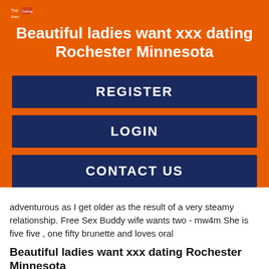The Dating Diary
Beautiful ladies want xxx dating Rochester Minnesota
REGISTER
LOGIN
CONTACT US
adventurous as I get older as the result of a very steamy relationship. Free Sex Buddy wife wants two - mw4m She is five five , one fifty brunette and loves oral
Beautiful ladies want xxx dating Rochester Minnesota
I am a single mom with one chid. Iam a real nice guy. Open to st8 or bi-curious, looking for honest, friendly people who are not